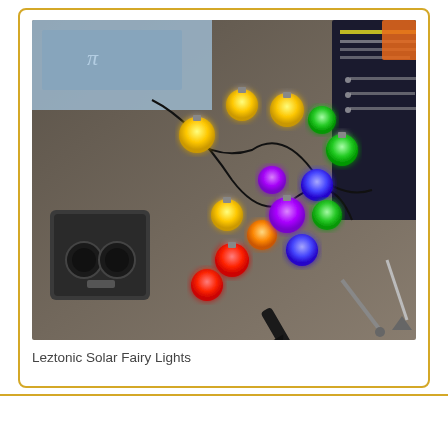[Figure (photo): Photo of Leztonic Solar Fairy Lights spread on a gray surface, showing colorful illuminated globe bulbs (yellow, red, blue, green, purple) on a string with a solar panel unit and ground stakes, with product boxes visible in the background.]
Leztonic Solar Fairy Lights